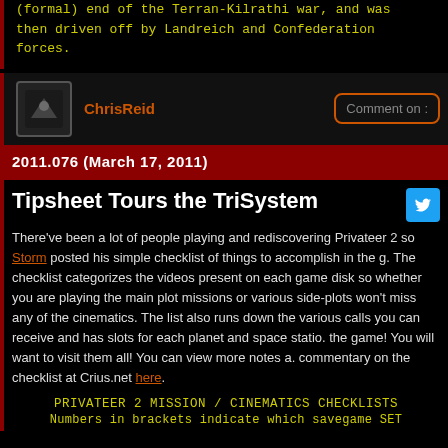(formal) end of the Terran-Kilrathi war, and was then driven off by Landreich and Confederation forces.
ChrisReid
Comment on:
2011.076 (March 17, 2011)
Tipsheet Tours the TriSystem
There've been a lot of people playing and rediscovering Privateer 2 so Storm posted his simple checklist of things to accomplish in the g. The checklist categorizes the videos present on each game disk so whether you are playing the main plot missions or various side-plots won't miss any of the cinematics. The list also runs down the various calls you can receive and has slots for each planet and space station the game! You will want to visit them all! You can view more notes a commentary on the checklist at Crius.net here.
PRIVATEER 2 MISSION / CINEMATICS CHECKLISTS
Numbers in brackets indicate which savegame SET